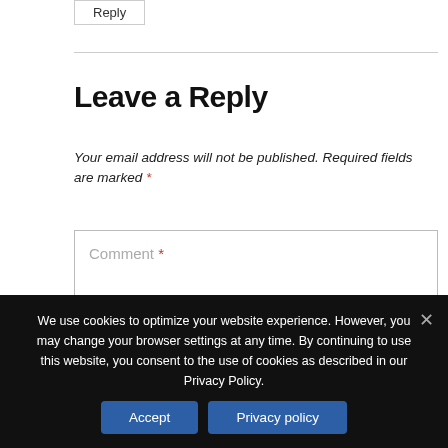Reply
Leave a Reply
Your email address will not be published. Required fields are marked *
Comment *
We use cookies to optimize your website experience. However, you may change your browser settings at any time. By continuing to use this website, you consent to the use of cookies as described in our Privacy Policy.
Accept
Privacy policy